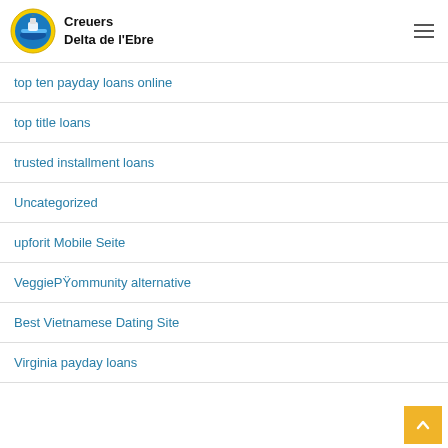Creuers Delta de l'Ebre
top ten payday loans online
top title loans
trusted installment loans
Uncategorized
upforit Mobile Seite
VeggiePŸommunity alternative
Best Vietnamese Dating Site
Virginia payday loans